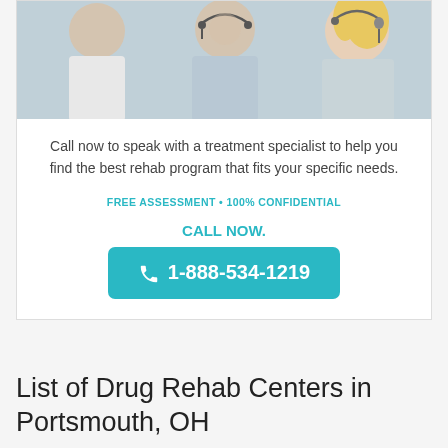[Figure (photo): Three customer service/call center representatives wearing headsets, smiling, against a light background. Two men and one woman visible.]
Call now to speak with a treatment specialist to help you find the best rehab program that fits your specific needs.
FREE ASSESSMENT • 100% CONFIDENTIAL
CALL NOW.
1-888-534-1219
List of Drug Rehab Centers in Portsmouth, OH